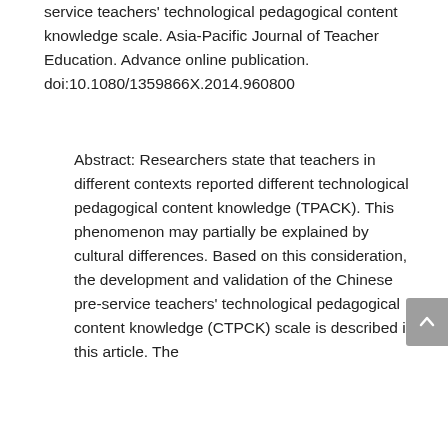service teachers' technological pedagogical content knowledge scale. Asia-Pacific Journal of Teacher Education. Advance online publication. doi:10.1080/1359866X.2014.960800
Abstract: Researchers state that teachers in different contexts reported different technological pedagogical content knowledge (TPACK). This phenomenon may partially be explained by cultural differences. Based on this consideration, the development and validation of the Chinese pre-service teachers' technological pedagogical content knowledge (CTPCK) scale is described in this article. The